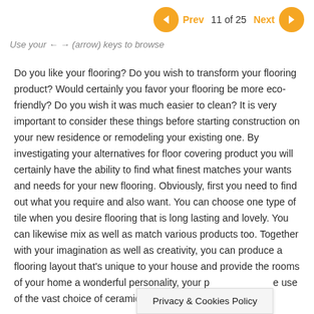Prev  11 of 25  Next
Use your ← → (arrow) keys to browse
Do you like your flooring? Do you wish to transform your flooring product? Would certainly you favor your flooring be more eco-friendly? Do you wish it was much easier to clean? It is very important to consider these things before starting construction on your new residence or remodeling your existing one. By investigating your alternatives for floor covering product you will certainly have the ability to find what finest matches your wants and needs for your new flooring. Obviously, first you need to find out what you require and also want. You can choose one type of tile when you desire flooring that is long lasting and lovely. You can likewise mix as well as match various products too. Together with your imagination as well as creativity, you can produce a flooring layout that's unique to your house and provide the rooms of your home a wonderful personality, your p                         e use of the vast choice of ceramic tile flo                         e to
Privacy & Cookies Policy